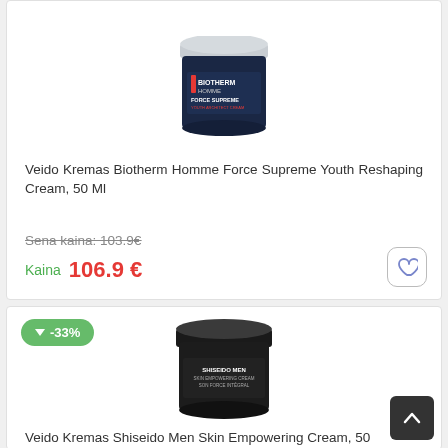[Figure (photo): Biotherm Homme Force Supreme Youth Architect Cream jar, dark navy blue container with silver lid]
Veido Kremas Biotherm Homme Force Supreme Youth Reshaping Cream, 50 Ml
Sena kaina: 103.9€
Kaina 106.9 €
[Figure (photo): Shiseido Men Skin Empowering Cream jar, black round container]
-33%
Veido Kremas Shiseido Men Skin Empowering Cream, 50